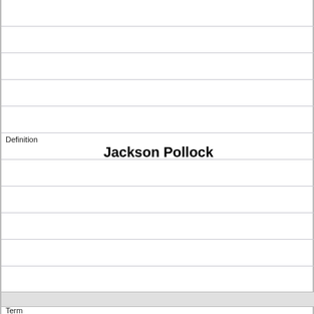Definition
Jackson Pollock
Term
Who said "[T]he artist's problem...[is] the idea-complex that makes contact with mystery---of life, of men, of nature, of the hard black chaos that is death, or the grayer, softer chaos that is tragedy?"